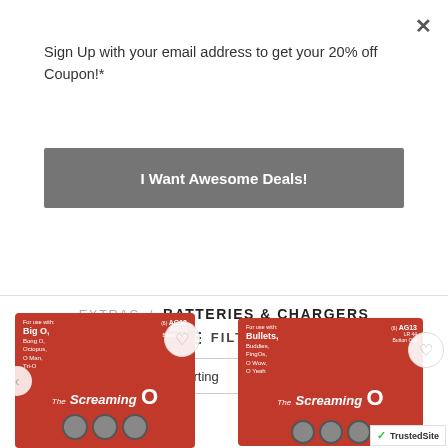Sign Up with your email address to get your 20% off Coupon!*
I Want Awesome Deals!
EXTRAS / BATTERIES & CHARGERS
FILTER
Default sorting
[Figure (photo): Red Screaming O battery pack (6) AG10 LR1130 Button Cell, for use with Big O, Bong O, Octopus, O Man, Tri-O]
[Figure (photo): Red Screaming O battery pack (6) AG13 LR44 Button Cell, for use with Bullets, Buddies, FingOs, O Wow, O Yeah]
TrustedSite